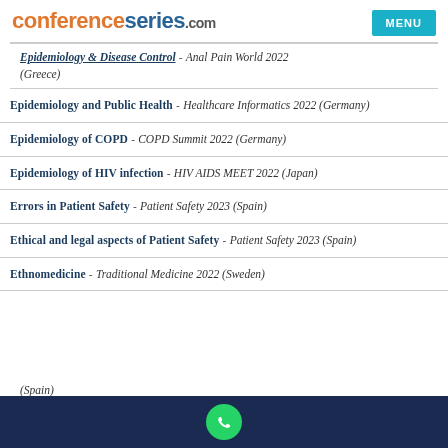conferenceseries.com MENU
Epidemiology & Disease Control - Anal Pain World 2022 (Greece)
Epidemiology and Public Health - Healthcare Informatics 2022 (Germany)
Epidemiology of COPD - COPD Summit 2022 (Germany)
Epidemiology of HIV infection - HIV AIDS MEET 2022 (Japan)
Errors in Patient Safety - Patient Safety 2023 (Spain)
Ethical and legal aspects of Patient Safety - Patient Safety 2023 (Spain)
Ethnomedicine - Traditional Medicine 2022 (Sweden)
(Spain)